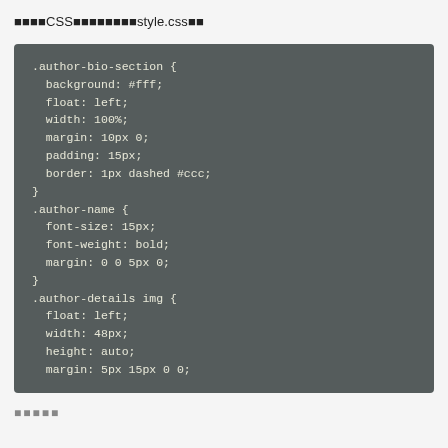次のCSSコードをファイルstyle.cssに
[Figure (screenshot): Dark gray code block showing CSS code for .author-bio-section, .author-name, and .author-details img selectors with their properties]
■■■■■